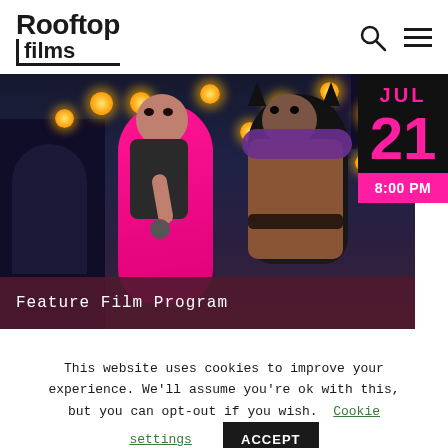Rooftop films
[Figure (illustration): Animated scene showing two characters — one with bright pink hair and one with dark hair and a purple scarf — standing against a dark blue night sky with glowing yellow lanterns and ornate architecture. A date badge shows JUL 21, 8:00 PM. A label reads 'Feature Film Program'.]
Feature Film Program
This website uses cookies to improve your experience. We'll assume you're ok with this, but you can opt-out if you wish. Cookie settings ACCEPT